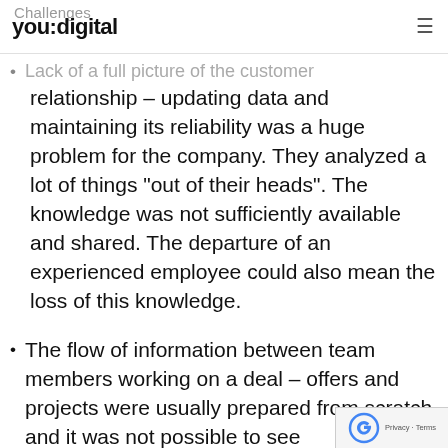Challenges  you:digital  ☰
Lack of a full picture of the customer relationship – updating data and maintaining its reliability was a huge problem for the company. They analyzed a lot of things "out of their heads". The knowledge was not sufficiently available and shared. The departure of an experienced employee could also mean the loss of this knowledge.
The flow of information between team members working on a deal – offers and projects were usually prepared from scratch and it was not possible to see…